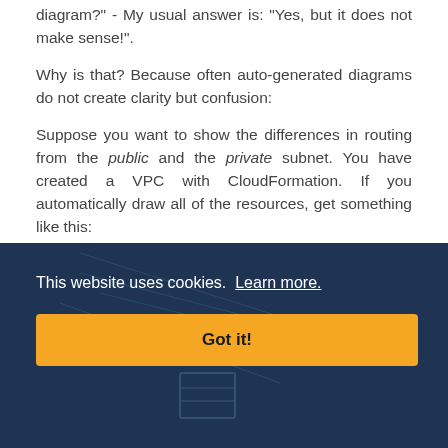diagram?" - My usual answer is: "Yes, but it does not make sense!".
Why is that? Because often auto-generated diagrams do not create clarity but confusion:
Suppose you want to show the differences in routing from the public and the private subnet. You have created a VPC with CloudFormation. If you automatically draw all of the resources, get something like this:
[Figure (illustration): AWS CloudFormation architecture diagram partially visible, showing orange VPC icon and architectural diagram lines on dark background]
This website uses cookies. Learn more.
Got it!